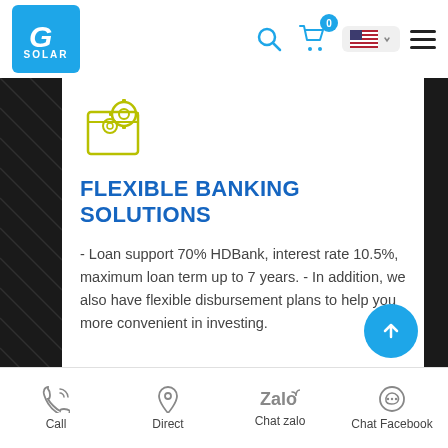[Figure (logo): G Solar logo - blue square with G letter and SOLAR text]
FLEXIBLE BANKING SOLUTIONS
- Loan support 70% HDBank, interest rate 10.5%, maximum loan term up to 7 years. - In addition, we also have flexible disbursement plans to help you more convenient in investing.
Call | Direct | Chat zalo | Chat Facebook